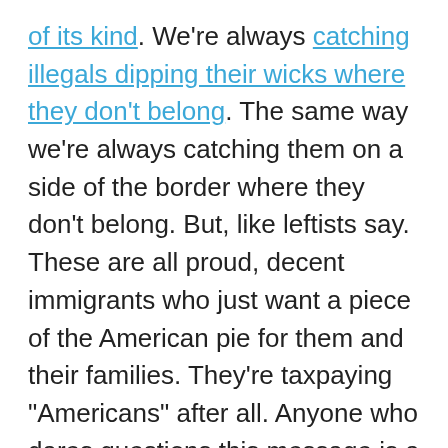of its kind. We're always catching illegals dipping their wicks where they don't belong. The same way we're always catching them on a side of the border where they don't belong. But, like leftists say. These are all proud, decent immigrants who just want a piece of the American pie for them and their families. They're taxpaying "Americans" after all. Anyone who dares questions this message is a racist.

This is the reason for walls and immigration laws. If you just throw the border gates open and welcome everyone in, you're bound to get riffraff. When leftists grant amnesty and establish sanctuary cities, they're only giving these illegal immigrant